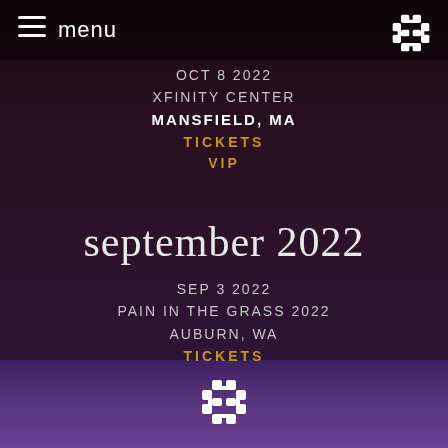menu
OCT 8 2022
XFINITY CENTER
MANSFIELD, MA
TICKETS
VIP
september 2022
SEP 3 2022
PAIN IN THE GRASS 2022
AUBURN, WA
TICKETS
[Figure (logo): Decorative knot/Celtic style logo in white at bottom center]